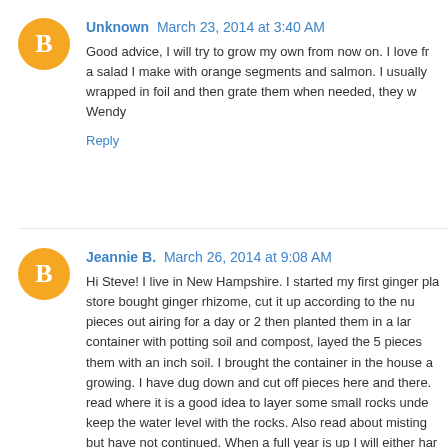[Figure (illustration): Orange circle avatar with white blogger 'B' icon]
Unknown March 23, 2014 at 3:40 AM
Good advice, I will try to grow my own from now on. I love fr... a salad I make with orange segments and salmon. I usually ... wrapped in foil and then grate them when needed, they w... Wendy
Reply
[Figure (illustration): Orange circle avatar with white blogger 'B' icon]
Jeannie B. March 26, 2014 at 9:08 AM
Hi Steve! I live in New Hampshire. I started my first ginger pla... store bought ginger rhizome, cut it up according to the nu... pieces out airing for a day or 2 then planted them in a lar... container with potting soil and compost, layed the 5 pieces... them with an inch soil. I brought the container in the house a... growing. I have dug down and cut off pieces here and there.... read where it is a good idea to layer some small rocks unde... keep the water level with the rocks. Also read about misting... but have not continued. When a full year is up I will either har... continue growing. I've read where you can do both. Supposed...